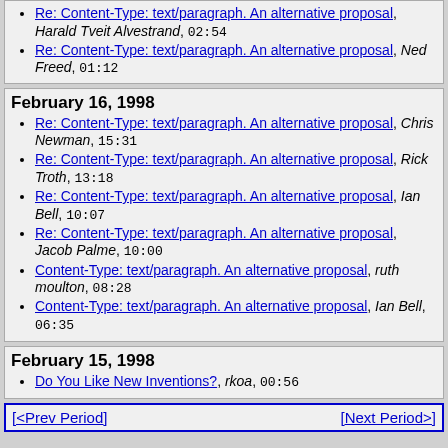Re: Content-Type: text/paragraph. An alternative proposal, Harald Tveit Alvestrand, 02:54
Re: Content-Type: text/paragraph. An alternative proposal, Ned Freed, 01:12
February 16, 1998
Re: Content-Type: text/paragraph. An alternative proposal, Chris Newman, 15:31
Re: Content-Type: text/paragraph. An alternative proposal, Rick Troth, 13:18
Re: Content-Type: text/paragraph. An alternative proposal, Ian Bell, 10:07
Re: Content-Type: text/paragraph. An alternative proposal, Jacob Palme, 10:00
Content-Type: text/paragraph. An alternative proposal, ruth moulton, 08:28
Content-Type: text/paragraph. An alternative proposal, Ian Bell, 06:35
February 15, 1998
Do You Like New Inventions?, rkoa, 00:56
[<Prev Period]
[Next Period>]